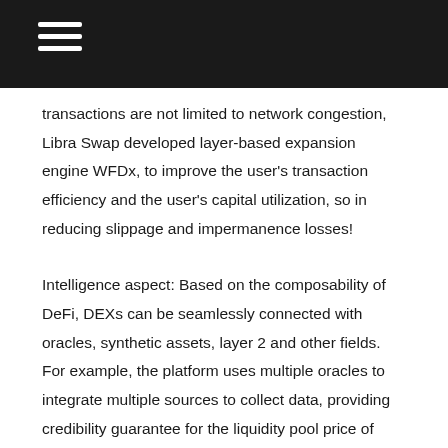transactions are not limited to network congestion, Libra Swap developed layer-based expansion engine WFDx, to improve the user's transaction efficiency and the user's capital utilization, so in reducing slippage and impermanence losses!
Intelligence aspect: Based on the composability of DeFi, DEXs can be seamlessly connected with oracles, synthetic assets, layer 2 and other fields. For example, the platform uses multiple oracles to integrate multiple sources to collect data, providing credibility guarantee for the liquidity pool price of Libra Swap. At the same time, Libra Swap uses the self-